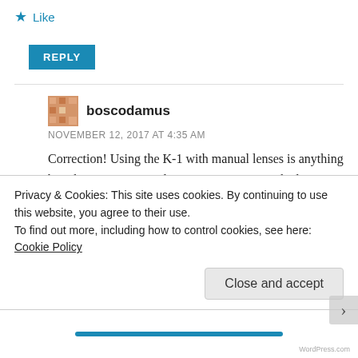★ Like
REPLY
boscodamus
NOVEMBER 12, 2017 AT 4:35 AM
Correction! Using the K-1 with manual lenses is anything but obvious. Fortunately some smart guy worked it out and I found his monograph on the web. All is well (thank goodness)!
Actually, I was close, just one setting off
Privacy & Cookies: This site uses cookies. By continuing to use this website, you agree to their use.
To find out more, including how to control cookies, see here: Cookie Policy
Close and accept